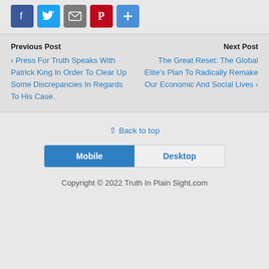[Figure (other): Social sharing buttons: Facebook (blue), Twitter (blue bird), Email (grey), Pinterest (red), More/Plus (blue)]
Previous Post
‹ Press For Truth Speaks With Patrick King In Order To Clear Up Some Discrepancies In Regards To His Case.
Next Post
The Great Reset: The Global Elite's Plan To Radically Remake Our Economic And Social Lives ›
⇧ Back to top
Mobile   Desktop
Copyright © 2022 Truth In Plain Sight.com